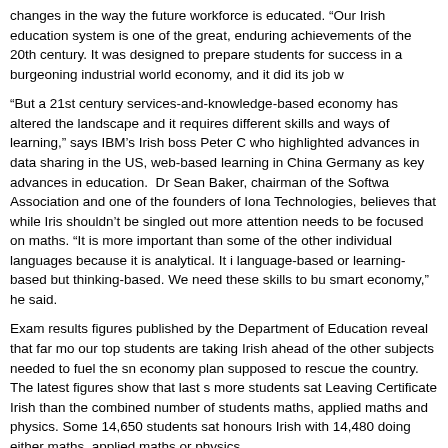changes in the way the future workforce is educated. "Our Irish education system is one of the great, enduring achievements of the 20th century. It was designed to prepare students for success in a burgeoning industrial world economy, and it did its job w
“But a 21st century services-and-knowledge-based economy has altered the landscape and it requires different skills and ways of learning,” says IBM’s Irish boss Peter C who highlighted advances in data sharing in the US, web-based learning in China Germany as key advances in education. Dr Sean Baker, chairman of the Softwa Association and one of the founders of Iona Technologies, believes that while Iris shouldn’t be singled out more attention needs to be focused on maths. “It is more important than some of the other individual languages because it is analytical. It i language-based or learning-based but thinking-based. We need these skills to bu smart economy,” he said.
Exam results figures published by the Department of Education reveal that far mo our top students are taking Irish ahead of the other subjects needed to fuel the sn economy plan supposed to rescue the country. The latest figures show that last s more students sat Leaving Certificate Irish than the combined number of students maths, applied maths and physics. Some 14,650 students sat honours Irish with 14,480 doing either maths, applied maths or physics. In 2009 more students sat the higher level home economics exam than higher le maths.